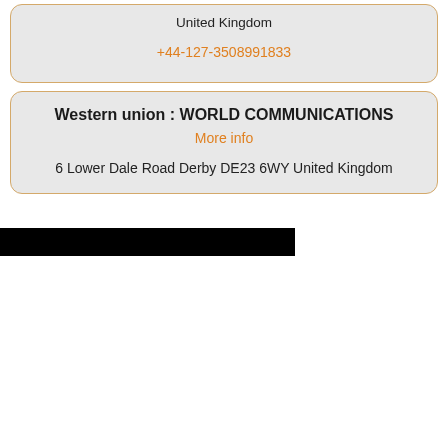United Kingdom
+44-127-3508991833
Western union : WORLD COMMUNICATIONS
More info
6 Lower Dale Road Derby DE23 6WY United Kingdom